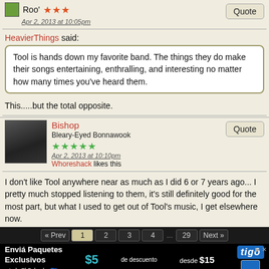Roo'
Apr 2, 2013 at 10:05pm
HeavierThings said:
Tool is hands down my favorite band. The things they do make their songs entertaining, enthralling, and interesting no matter how many times you've heard them.
This.....but the total opposite.
Bishop
Bleary-Eyed Bonnawook
Apr 2, 2013 at 10:10pm
Whoreshack likes this
I don't like Tool anywhere near as much as I did 6 or 7 years ago... I pretty much stopped listening to them, it's still definitely good for the most part, but what I used to get out of Tool's music, I get elsewhere now.
« Prev  1  2  3  4  ...  29  Next »